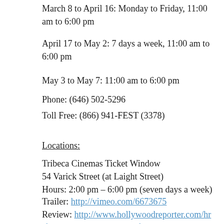March 8 to April 16: Monday to Friday, 11:00 am to 6:00 pm
April 17 to May 2: 7 days a week, 11:00 am to 6:00 pm
May 3 to May 7: 11:00 am to 6:00 pm
Phone: (646) 502-5296
Toll Free: (866) 941-FEST (3378)
Locations:
Tribeca Cinemas Ticket Window
54 Varick Street (at Laight Street)
Hours: 2:00 pm – 6:00 pm (seven days a week)
Trailer: http://vimeo.com/6673675
Review: http://www.hollywoodreporter.com/hr/film-reviews/road-movie-film-review-